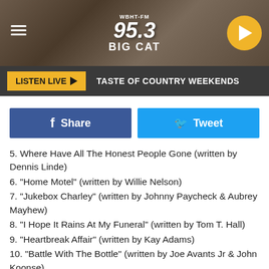[Figure (screenshot): Radio station header banner for WBHT-FM 95.3 Big Cat with dark textured stone background, hamburger menu icon on the left, station logo in center, and yellow play button on the right]
[Figure (screenshot): Navigation bar with yellow LISTEN LIVE button and text TASTE OF COUNTRY WEEKENDS on dark background]
[Figure (screenshot): Social sharing row with blue Facebook Share button and light blue Twitter Tweet button]
5. Where Have All The Honest People Gone (written by Dennis Linde)
6. "Home Motel" (written by Willie Nelson)
7. "Jukebox Charley" (written by Johnny Paycheck & Aubrey Mayhew)
8. "I Hope It Rains At My Funeral" (written by Tom T. Hall)
9. "Heartbreak Affair" (written by Kay Adams)
10. "Battle With The Bottle" (written by Joe Avants Jr & John Koonse)
11. "Out Of Control" (written by George Jones, Darrell Edwards & Herby Treece)
12. "Six Foot Under" (written by Clint Lewis & James Hutchins)
13. "Same Old Situation" (written by Wayne Kemp & Bill...